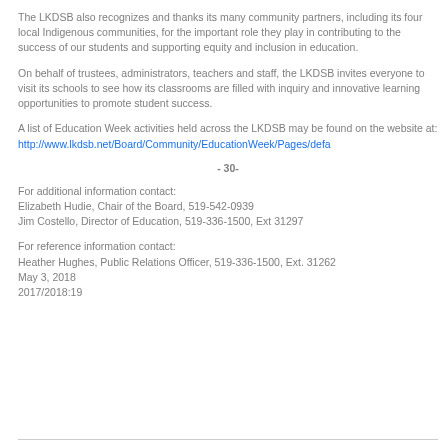The LKDSB also recognizes and thanks its many community partners, including its four local Indigenous communities, for the important role they play in contributing to the success of our students and supporting equity and inclusion in education.
On behalf of trustees, administrators, teachers and staff, the LKDSB invites everyone to visit its schools to see how its classrooms are filled with inquiry and innovative learning opportunities to promote student success.
A list of Education Week activities held across the LKDSB may be found on the website at: http://www.lkdsb.net/Board/Community/EducationWeek/Pages/defa
- 30-
For additional information contact:
Elizabeth Hudie, Chair of the Board, 519-542-0939
Jim Costello, Director of Education, 519-336-1500, Ext 31297
For reference information contact:
Heather Hughes, Public Relations Officer, 519-336-1500, Ext. 31262
May 3, 2018
2017/2018:19